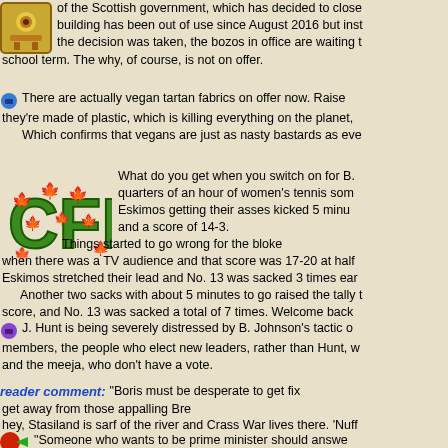Politicians have no connection with the real world. This is the decision of the Scottish government, which has decided to close a school. The building has been out of use since August 2016 but instead of waiting until the decision was taken, the bozos in office are waiting to the end of the school term. The why, of course, is not on offer.
There are actually vegan tartan fabrics on offer now. Raise the alarm! they're made of plastic, which is killing everything on the planet, Which confirms that vegans are just as nasty bastards as ever.
[Figure (logo): CFL logo with Canadian maple leaves]
What do you get when you switch on for B. and find three quarters of an hour of women's tennis somewhere, then the Eskimos getting their asses kicked 5 minutes into the 4th quarter and a score of 14-3. Things started to go wrong for the bloke when there was a TV audience and that score was 17-20 at half time. Eskimos stretched their lead and No. 13 was sacked 3 times early. Another two sacks with about 5 minutes to go raised the tally to the score, and No. 13 was sacked a total of 7 times. Welcome back
J. Hunt is being severely distressed by B. Johnson's tactic of talking to members, the people who elect new leaders, rather than Hunt, who prefers and the meeja, who don't have a vote.
reader comment: "Boris must be desperate to get fix get away from those appalling Bre hey, Stasiland is sarf of the river and Crass War lives there. 'Nuff
"Someone who wants to be prime minister should answe